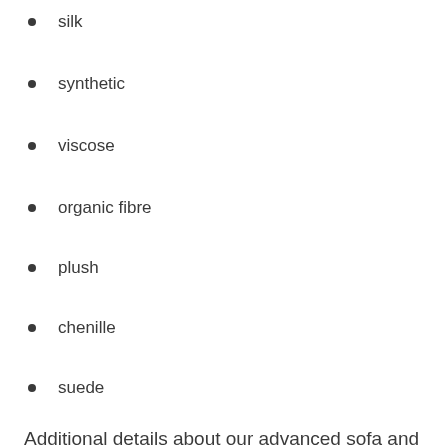silk
synthetic
viscose
organic fibre
plush
chenille
suede
Additional details about our advanced sofa and upholstery cleaning in Liverpool POST_CODE